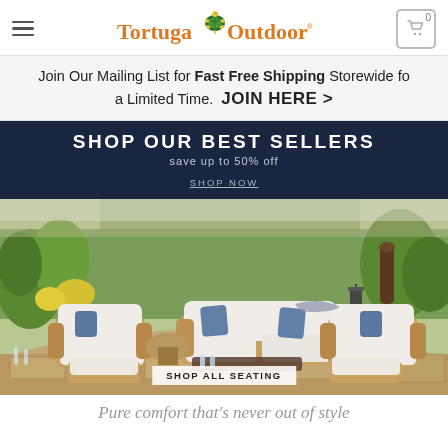Tortuga Outdoor — navigation header with hamburger menu, logo, and cart icon showing 0
Join Our Mailing List for Fast Free Shipping Storewide for a Limited Time.  JOIN HERE >
[Figure (infographic): Dark navy banner: SHOP OUR BEST SELLERS — save up to 50% off — SHOP NOW]
[Figure (photo): Outdoor patio scene featuring wicker/rattan furniture set with white cushions and blue accent pillows on a stone patio surrounded by lush garden greenery. Button overlay: SHOP ALL SEATING]
Pure comfort that's never out of style